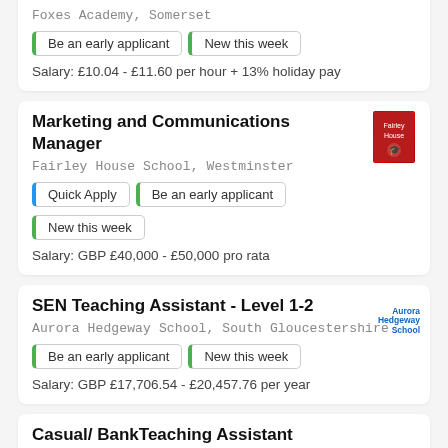Foxes Academy, Somerset
Be an early applicant
New this week
Salary: £10.04 - £11.60 per hour + 13% holiday pay
Marketing and Communications Manager
Fairley House School, Westminster
Quick Apply
Be an early applicant
New this week
Salary: GBP £40,000 - £50,000 pro rata
SEN Teaching Assistant - Level 1-2
Aurora Hedgeway School, South Gloucestershire
Be an early applicant
New this week
Salary: GBP £17,706.54 - £20,457.76 per year
Casual/ BankTeaching Assistant